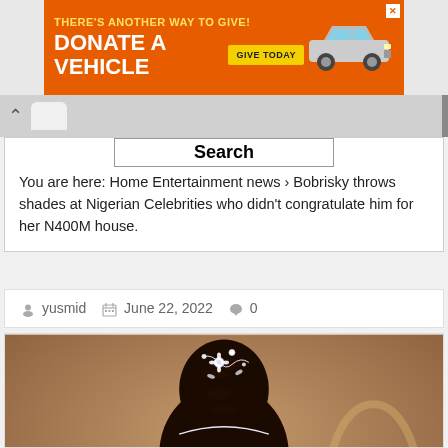[Figure (infographic): Orange advertisement banner: 'THERE'S ANOTHER WAY TO GIVE! DONATE A VEHICLE GIVE TODAY' with car image and close button]
[Figure (screenshot): Browser chrome with chevron back button and tab]
Search
You are here: Home Entertainment news › Bobrisky throws shades at Nigerian Celebrities who didn't congratulate him for her N400M house.
yusmid   June 22, 2022   0
[Figure (photo): Close-up photo of Bobrisky with elaborate updo hairstyle decorated with crystal/rhinestone hair accessories, wearing makeup with glitter eyeshadow, and large pearl/crystal earrings. Warm brownish background.]